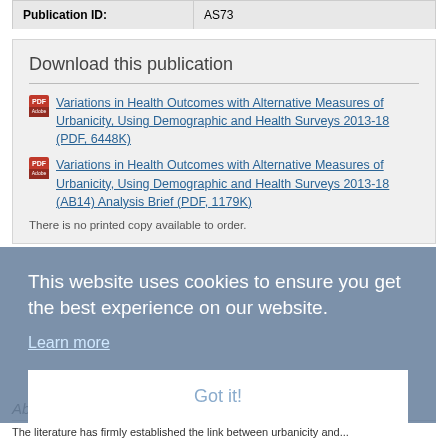| Publication ID: | AS73 |
Download this publication
Variations in Health Outcomes with Alternative Measures of Urbanicity, Using Demographic and Health Surveys 2013-18 (PDF, 6448K)
Variations in Health Outcomes with Alternative Measures of Urbanicity, Using Demographic and Health Surveys 2013-18 (AB14) Analysis Brief (PDF, 1179K)
There is no printed copy available to order.
This website uses cookies to ensure you get the best experience on our website.
Learn more
Got it!
Abstract:
The literature has firmly established the link between urbanicity and...